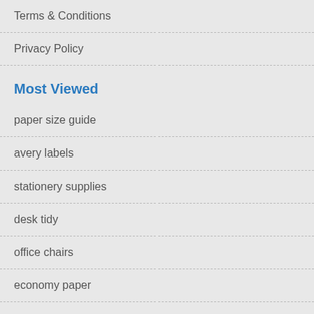Terms & Conditions
Privacy Policy
Most Viewed
paper size guide
avery labels
stationery supplies
desk tidy
office chairs
economy paper
Social networks